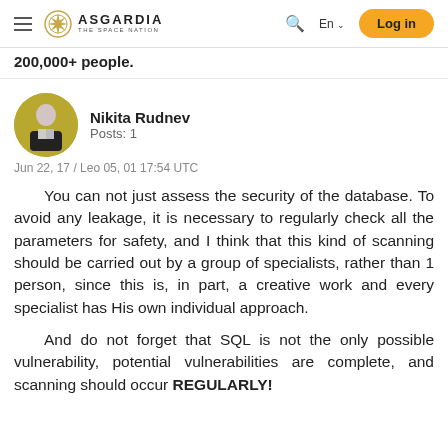ASGARDIA THE SPACE NATION — En — Log in
200,000+ people.
Nikita Rudnev
Posts: 1
Jun 22, 17 / Leo 05, 01 17:54 UTC
You can not just assess the security of the database. To avoid any leakage, it is necessary to regularly check all the parameters for safety, and I think that this kind of scanning should be carried out by a group of specialists, rather than 1 person, since this is, in part, a creative work and every specialist has His own individual approach.
And do not forget that SQL is not the only possible vulnerability, potential vulnerabilities are complete, and scanning should occur REGULARLY!